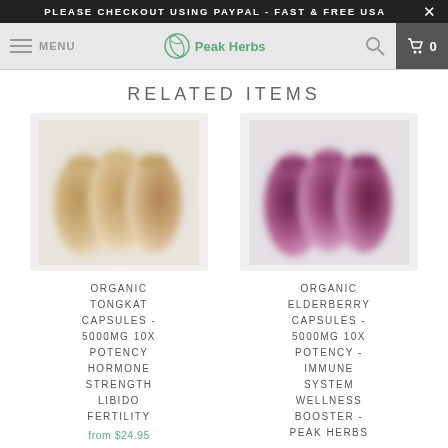PLEASE CHECKOUT USING PAYPAL - FAST & FREE USA
MENU | Peak Herbs | 0
RELATED ITEMS
[Figure (photo): Product photo of Organic Tongkat Capsules - tan/beige colored supplement pouches, blurred]
ORGANIC TONGKAT CAPSULES - 5000MG 10X POTENCY HORMONE STRENGTH LIBIDO FERTILITY
from $24.95
[Figure (photo): Product photo of Organic Elderberry Capsules - purple/dark red colored supplement pouches, blurred]
ORGANIC ELDERBERRY CAPSULES - 5000MG 10X POTENCY - IMMUNE SYSTEM WELLNESS BOOSTER - PEAK HERBS